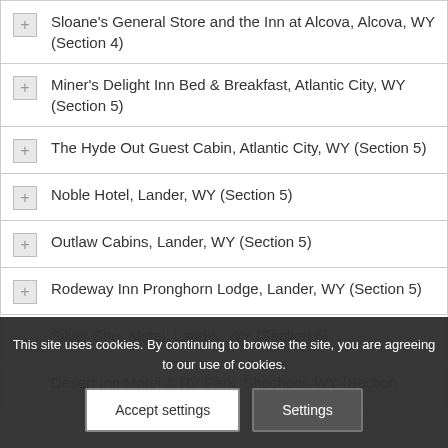Sloane's General Store and the Inn at Alcova, Alcova, WY (Section 4)
Miner's Delight Inn Bed & Breakfast, Atlantic City, WY (Section 5)
The Hyde Out Guest Cabin, Atlantic City, WY (Section 5)
Noble Hotel, Lander, WY (Section 5)
Outlaw Cabins, Lander, WY (Section 5)
Rodeway Inn Pronghorn Lodge, Lander, WY (Section 5)
Silver Spur Motel, Lander, WY (Section 5)
Desert Inn Motel & RV Park, Shoshoni, WY (Section
This site uses cookies. By continuing to browse the site, you are agreeing to our use of cookies.